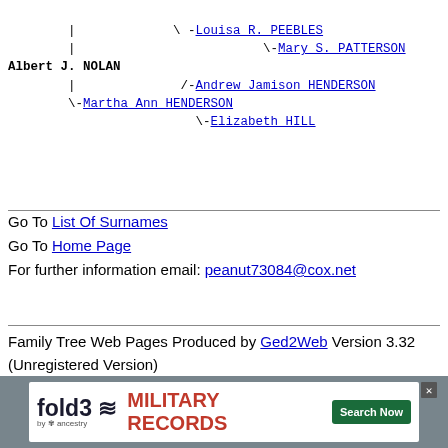| \ -Louisa R. PEEBLES
        |                         \-Mary S. PATTERSON
Albert J. NOLAN
        |              /-Andrew Jamison HENDERSON
        \-Martha Ann HENDERSON
                         \-Elizabeth HILL
Go To List Of Surnames
Go To Home Page
For further information email: peanut73084@cox.net
Family Tree Web Pages Produced by Ged2Web Version 3.32 (Unregistered Version)
[Figure (other): Fold3 by Ancestry military records advertisement banner with Search Now button]